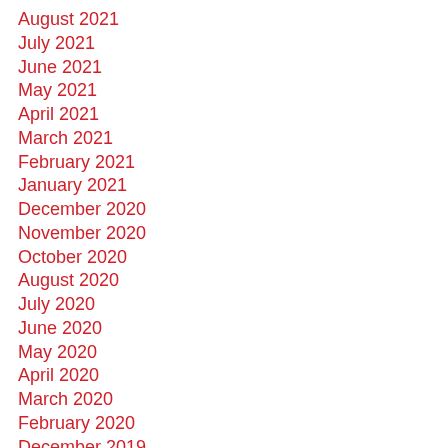August 2021
July 2021
June 2021
May 2021
April 2021
March 2021
February 2021
January 2021
December 2020
November 2020
October 2020
August 2020
July 2020
June 2020
May 2020
April 2020
March 2020
February 2020
December 2019
November 2019